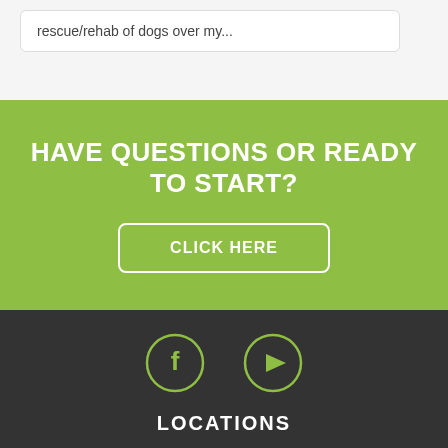rescue/rehab of dogs over my...
HAVE QUESTIONS OR READY TO START?
[Figure (illustration): Button with white border and text CLICK HERE on green background]
[Figure (illustration): Social media icons: Facebook circle icon and YouTube circle icon on dark background]
LOCATIONS